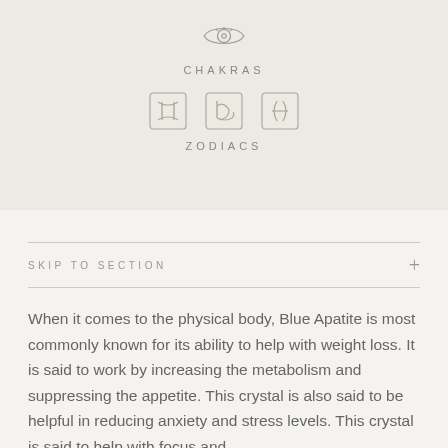[Figure (illustration): Third eye / eye symbol icon, outline style]
CHAKRAS
[Figure (illustration): Three zodiac symbols: Gemini, Capricorn, Pisces]
ZODIACS
SKIP TO SECTION
When it comes to the physical body, Blue Apatite is most commonly known for its ability to help with weight loss. It is said to work by increasing the metabolism and suppressing the appetite. This crystal is also said to be helpful in reducing anxiety and stress levels. This crystal is said to help with focus and